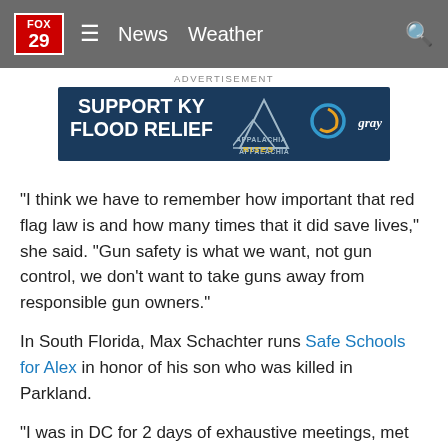FOX 29 | News   Weather
[Figure (other): Advertisement banner: SUPPORT KY FLOOD RELIEF - Appalachia Rises - gray logo]
“I think we have to remember how important that red flag law is and how many times that it did save lives,” she said. “Gun safety is what we want, not gun control, we don’t want to take guns away from responsible gun owners.”
In South Florida, Max Schachter runs Safe Schools for Alex in honor of his son who was killed in Parkland.
“I was in DC for 2 days of exhaustive meetings, met with Republicans and Democrats,” Schachter says of his visit with members of Congress this week.
Schachter is hoping to get two bills passed. One to codify the Federal School safety Clearinghouse at the